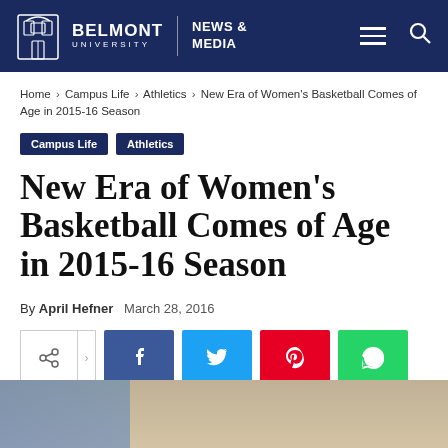Belmont University | NEWS & MEDIA
Home › Campus Life › Athletics › New Era of Women's Basketball Comes of Age in 2015-16 Season
Campus Life
Athletics
New Era of Women's Basketball Comes of Age in 2015-16 Season
By April Hefner   March 28, 2016
[Figure (screenshot): Social share buttons row: native share button, forward arrow, Facebook (blue), Twitter (light blue), Pinterest (red), WhatsApp (green)]
[Figure (photo): Partial photo of a person at bottom of page, indoor setting with windows visible]